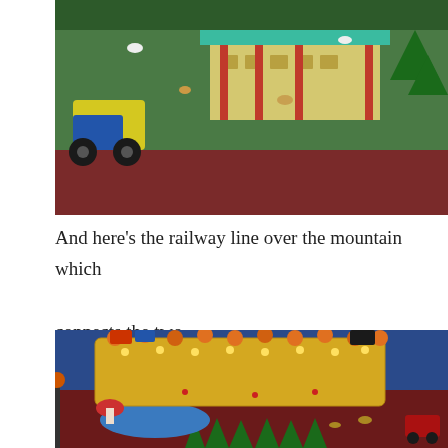[Figure (photo): A model/diorama scene showing a green landscape with a small building with a teal roof and red pillars, a yellow toy tractor, small animal figurines, and green bushes/trees on a dark red background.]
And here's the railway line over the mountain which connects the two....
[Figure (photo): A model/diorama scene showing a yellow fabric-covered mountain structure decorated with fairy lights and orange flowers, with miniature trees, animals, a mushroom, toy vehicles, and a blue river at the base on a dark red landscape.]